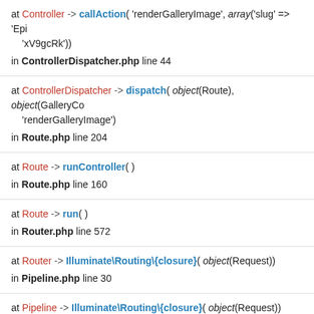at Controller -> callAction('renderGalleryImage', array('slug' => 'Epi... 'xV9gcRk')) in ControllerDispatcher.php line 44
at ControllerDispatcher -> dispatch(object(Route), object(GalleryCo... 'renderGalleryImage') in Route.php line 204
at Route -> runController() in Route.php line 160
at Route -> run() in Router.php line 572
at Router -> Illuminate\Routing\{closure}(object(Request)) in Pipeline.php line 30
at Pipeline -> Illuminate\Routing\{closure}(object(Request)) in SubstituteBindings.php line 41
at SubstituteBindings -> handle(object(Request), object(Closure)) in Pipeline.php line 148
at Pipeline -> Illuminate\Routing\{closure}(object(Request))